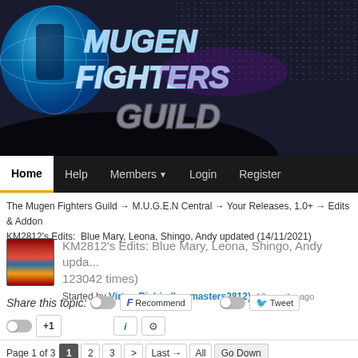[Figure (logo): Mugen Fighters Guild logo with globe graphic and stylized text on dark background]
Home  Help  Members  Login  Register
The Mugen Fighters Guild → M.U.G.E.N Central → Your Releases, 1.0+ → Edits & Addons
KM2812's Edits:  Blue Mary, Leona, Shingo, Andy updated (14/11/2021)
KM2812's Edits: Blue Mary, Leona, Shingo, Andy upda... (123042 times)
Started by Virtua Richie (kenmasters2812), 12 months ago
Share this topic:   Recommend   Tweet   +1   i   ⚙
Page 1 of 3   1   2   3   >   Last →   All   Go Down